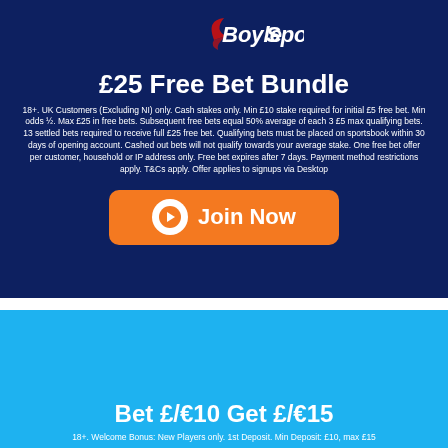[Figure (logo): BoyleSports logo — white italic text with red swoosh accent]
£25 Free Bet Bundle
18+. UK Customers (Excluding NI) only. Cash stakes only. Min £10 stake required for initial £5 free bet. Min odds ½. Max £25 in free bets. Subsequent free bets equal 50% average of each 3 £5 max qualifying bets. 13 settled bets required to receive full £25 free bet. Qualifying bets must be placed on sportsbook within 30 days of opening account. Cashed out bets will not qualify towards your average stake. One free bet offer per customer, household or IP address only. Free bet expires after 7 days. Payment method restrictions apply. T&Cs apply. Offer applies to signups via Desktop
[Figure (other): Orange 'Join Now' button with white arrow circle icon]
Bet £/€10 Get £/€15
18+. Welcome Bonus: New Players only. 1st Deposit. Min Deposit: £10, max £15